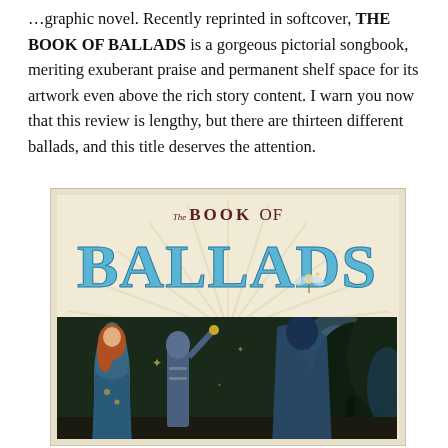...graphic novel. Recently reprinted in softcover, THE BOOK OF BALLADS is a gorgeous pictorial songbook, meriting exuberant praise and permanent shelf space for its artwork even above the rich story content. I warn you now that this review is lengthy, but there are thirteen different ballads, and this title deserves the attention.
[Figure (illustration): Book cover of 'The Book of Ballads' showing decorative Art Nouveau style lettering with large blue 'BALLADS' text, and illustrated figures including a woman with auburn hair and a knight in armor against a fantasy background with trees and moonlight.]